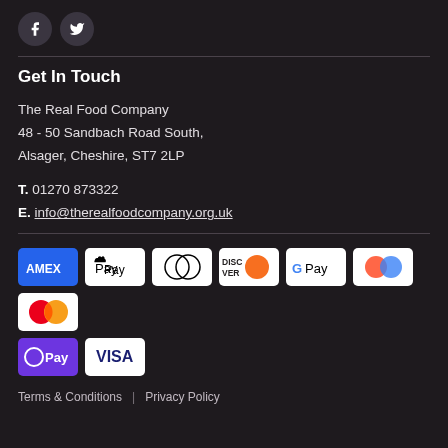[Figure (other): Social media icons: Facebook and Twitter circular buttons]
Get In Touch
The Real Food Company
48 - 50 Sandbach Road South,
Alsager, Cheshire, ST7 2LP
T. 01270 873322
E. info@therealfoodcompany.org.uk
[Figure (other): Payment method logos: AMEX, Apple Pay, Diners Club, Discover, Google Pay, Shop Pay (two-circle), Mastercard, O Pay, Visa]
Terms & Conditions | Privacy Policy